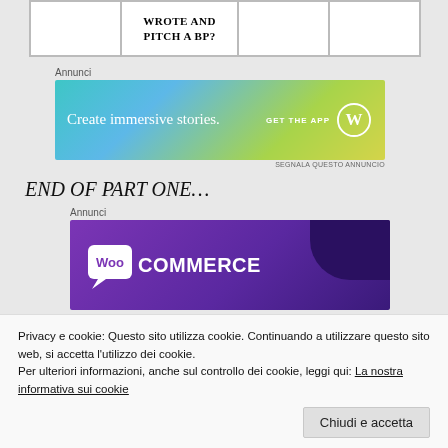|  | WROTE AND PITCH A BP? |  |  |
[Figure (screenshot): WordPress app advertisement banner: 'Create immersive stories. GET THE APP' with WordPress logo on teal-green gradient background]
Annunci
SEGNALA QUESTO ANNUNCIO
END OF PART ONE…
Annunci
[Figure (screenshot): WooCommerce advertisement banner with purple gradient background and WooCommerce logo]
Privacy e cookie: Questo sito utilizza cookie. Continuando a utilizzare questo sito web, si accetta l'utilizzo dei cookie.
Per ulteriori informazioni, anche sul controllo dei cookie, leggi qui: La nostra informativa sui cookie
Chiudi e accetta
[Figure (screenshot): Bottom portion of WooCommerce ad with 'Start a new store' button]